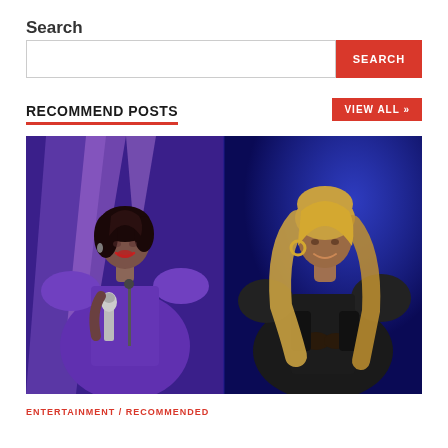Search
SEARCH (button)
RECOMMEND POSTS
VIEW ALL »
[Figure (photo): Two celebrities side by side on blue background: left person in purple outfit holding a microphone award; right person in black outfit with long blonde hair.]
ENTERTAINMENT / RECOMMENDED